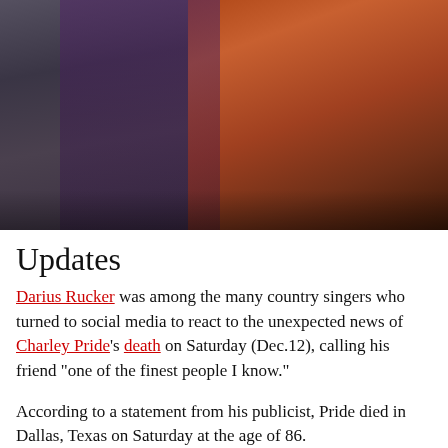[Figure (photo): Two men at a music event. On the left, a tall man in a grey suit. On the right, an older man in an orange corduroy jacket holding a microphone, wearing rings and a large pendant necklace. Dark stage lighting in the background.]
Updates
Darius Rucker was among the many country singers who turned to social media to react to the unexpected news of Charley Pride's death on Saturday (Dec.12), calling his friend “one of the finest people I know.”
According to a statement from his publicist, Pride died in Dallas, Texas on Saturday at the age of 86.